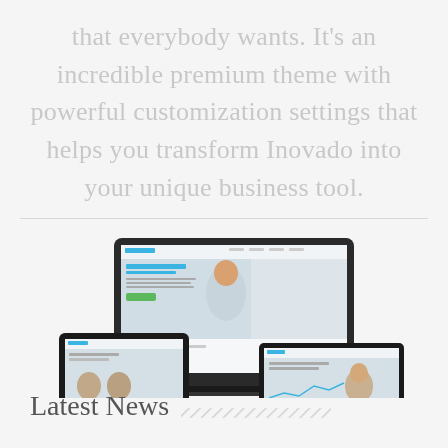that everybody wants. It's an incredible premium theme with powerful customization settings that helps you transform Inovado into your unique business tool.
[Figure (screenshot): Screenshots of Inovado theme shown on laptop, tablet, and mobile devices]
Latest News